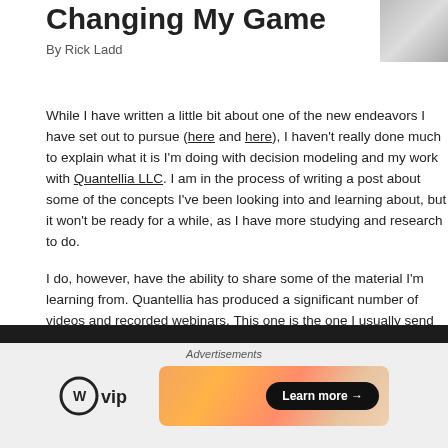Changing My Game
By Rick Ladd
25 Ma
While I have written a little bit about one of the new endeavors I have set out to pursue (here and here), I haven't really done much to explain what it is I'm doing with decision modeling and my work with Quantellia LLC. I am in the process of writing a post about some of the concepts I've been looking into and learning about, but it won't be ready for a while, as I have more studying and research to do.
I do, however, have the ability to share some of the material I'm learning from. Quantellia has produced a significant number of videos and recorded webinars. This one is the one I usually send to prospects. While it is the oldest, it's also the shortest and still conveys the essence of what Quantellia, and it's product, World Modeler, can do for a business or organization facing complex decision making.
[Figure (screenshot): Embedded video player with dark background]
Advertisements
[Figure (logo): WordPress VIP logo with circle W icon]
[Figure (infographic): Advertisement banner with gradient orange/peach background and 'Learn more →' button]